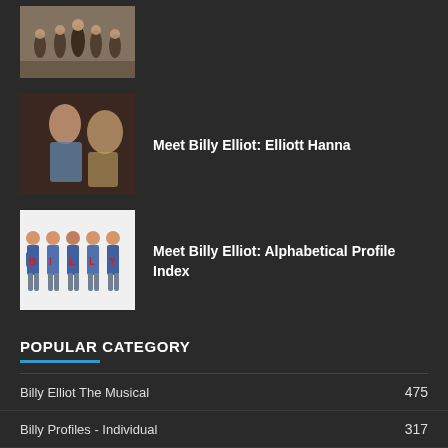[Figure (photo): Dance performance photo with multiple performers on stage]
[Figure (photo): Young boy (Elliott Hanna) backstage or at event]
Meet Billy Elliot: Elliott Hanna
[Figure (photo): Group photo of Billy Elliot cast members holding BILLY letters]
Meet Billy Elliot: Alphabetical Profile Index
POPULAR CATEGORY
Billy Elliot The Musical  475
Billy Profiles - Individual  317
Billy Profiles - By Location  140
North American Regional Productions  104